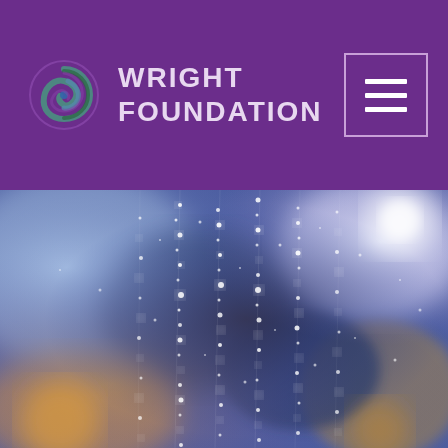[Figure (logo): Wright Foundation logo with spiral icon and text 'WRIGHT FOUNDATION' on purple header background with hamburger menu icon]
[Figure (photo): Close-up photo of water droplets on a spider web with blurred bokeh background in purple, blue, and warm yellow/orange tones]